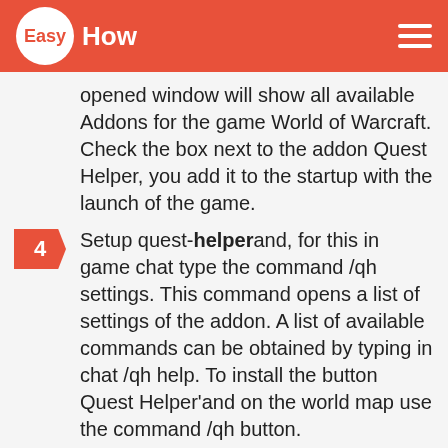EasyHow
opened window will show all available Addons for the game World of Warcraft. Check the box next to the addon Quest Helper, you add it to the startup with the launch of the game.
4. Setup quest-helper and, for this in game chat type the command /qh settings. This command opens a list of settings of the addon. A list of available commands can be obtained by typing in chat /qh help. To install the button Quest Helper'and on the world map use the command /qh button.
5. If necessary, turn on the function that will display information about the objects/objectives in the tips about monsters and items, use the command /qh tooltip. To list all available updated quests,